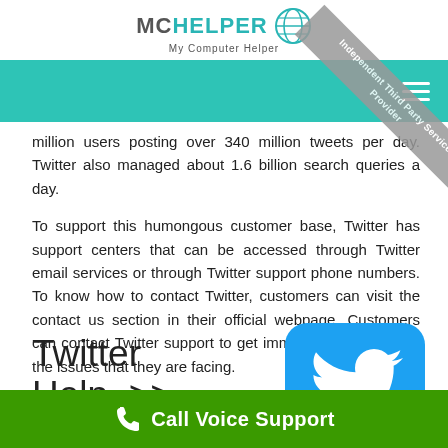[Figure (logo): MCHelper - My Computer Helper logo with globe icon]
[Figure (other): Teal navigation bar with hamburger menu icon]
[Figure (other): Diagonal ribbon banner reading 'Independent Third Party Service Provider']
million users posting over 340 million tweets per day. Twitter also managed about 1.6 billion search queries a day.
To support this humongous customer base, Twitter has support centers that can be accessed through Twitter email services or through Twitter support phone numbers. To know how to contact Twitter, customers can visit the contact us section in their official webpage. Customers can contact Twitter support to get immediate resolution to the issues that they are facing.
Twitter Help >>
[Figure (logo): Blue rounded square Twitter bird logo icon]
Call Voice Support